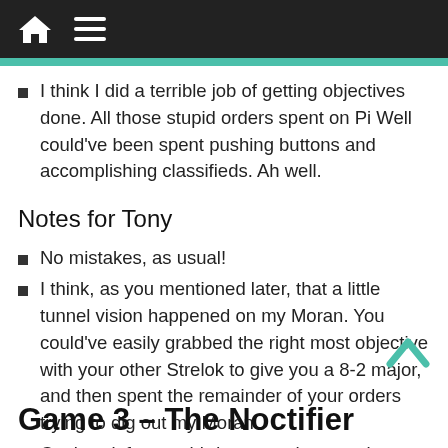I think I did a terrible job of getting objectives done. All those stupid orders spent on Pi Well could've been spent pushing buttons and accomplishing classifieds. Ah well.
Notes for Tony
No mistakes, as usual!
I think, as you mentioned later, that a little tunnel vision happened on my Moran. You could've easily grabbed the right most objective with your other Strelok to give you a 8-2 major, and then spent the remainder of your orders trying to dig out my Moran.
Can't wait for our third game, when maybe we have some normal dice for both of us!
Game 3 – The Noctifier